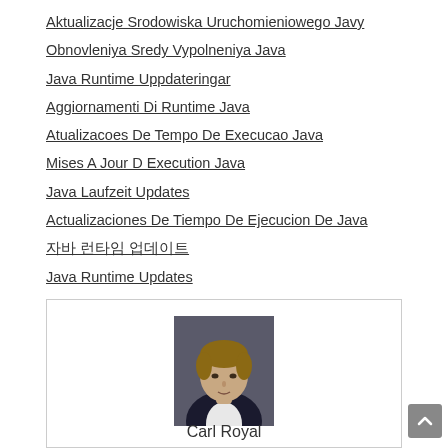Aktualizacje Srodowiska Uruchomieniowego Javy
Obnovleniya Sredy Vypolneniya Java
Java Runtime Uppdateringar
Aggiornamenti Di Runtime Java
Atualizacoes De Tempo De Execucao Java
Mises A Jour D Execution Java
Java Laufzeit Updates
Actualizaciones De Tiempo De Ejecucion De Java
자바 런타임 업데이트
Java Runtime Updates
[Figure (photo): Profile photo of a young man in a dark jacket and white shirt, with a card section showing 'Carl Royal' below]
Carl Royal